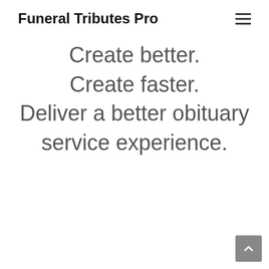Funeral Tributes Pro
Create better.
Create faster.
Deliver a better obituary service experience.